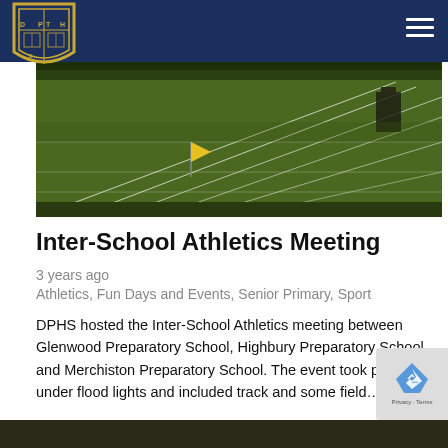DPHS school navigation bar with logo and menu
[Figure (photo): Sports field/athletics track at night with white line markings and a yellow flag visible on the grass]
Inter-School Athletics Meeting
3 years ago
Athletics, Fun Days and Events, Senior Primary, Sport
DPHS hosted the Inter-School Athletics meeting between Glenwood Preparatory School, Highbury Preparatory School and Merchiston Preparatory School. The event took place under flood lights and included track and some field…
READ MORE